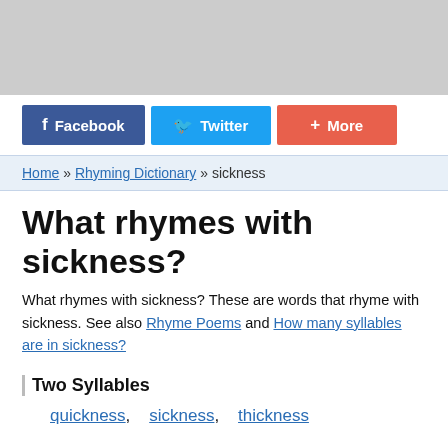[Figure (other): Gray advertisement banner at top of page]
Facebook  Twitter  More
Home » Rhyming Dictionary » sickness
What rhymes with sickness?
What rhymes with sickness? These are words that rhyme with sickness. See also Rhyme Poems and How many syllables are in sickness?
Two Syllables
quickness, sickness, thickness
Definition of: sickness